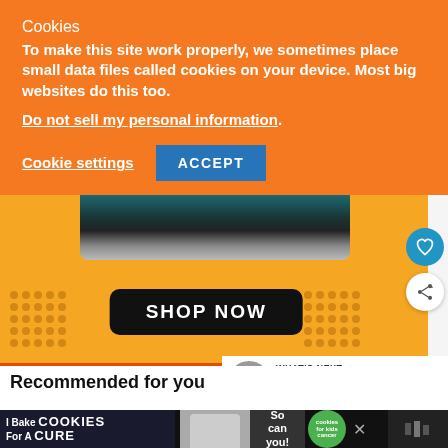Cookies
To make this site work properly, we sometimes place small data files called cookies on your device. Most big websites do this too.
Do not sell my personal information.
Cookie settings   ACCEPT
[Figure (screenshot): Advertisement banner with yellow background, dark teal/black fabric at top, dot grid patterns on left and right sides, and a black rounded rectangle button in the center reading SHOP NOW. A blue circular heart/like button and a white circular share button appear on the right side.]
WHAT'S NEXT → Tales of the Walking Dea...
Recommended for you
[Figure (screenshot): Bottom advertisement banner with dark background showing cookie-related charity promotion text: 'I Bake COOKIES For A CURE' with person photo, 'So can you!' text, a green circle with 'cookies for kids cancer' text, and media player controls on right.]